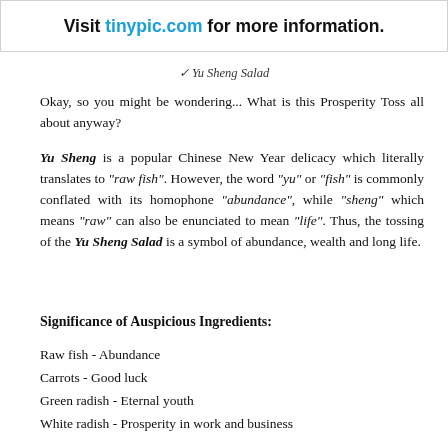[Figure (other): Banner with text 'Visit tinypic.com for more information.' with tinypic.com in blue]
✓ Yu Sheng Salad
Okay, so you might be wondering... What is this Prosperity Toss all about anyway?
Yu Sheng is a popular Chinese New Year delicacy which literally translates to "raw fish". However, the word "yu" or "fish" is commonly conflated with its homophone "abundance", while "sheng" which means "raw" can also be enunciated to mean "life". Thus, the tossing of the Yu Sheng Salad is a symbol of abundance, wealth and long life.
Significance of Auspicious Ingredients:
Raw fish - Abundance
Carrots - Good luck
Green radish - Eternal youth
White radish - Prosperity in work and business